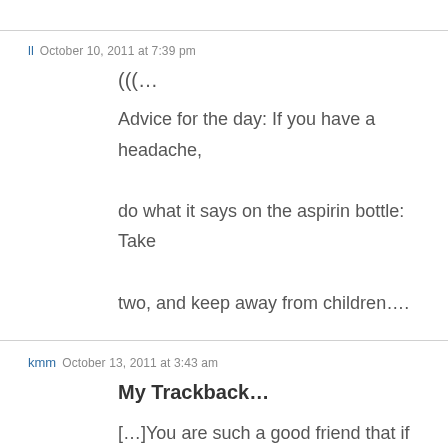ll  October 10, 2011 at 7:39 pm
(((…

Advice for the day: If you have a headache, do what it says on the aspirin bottle: Take two, and keep away from children….
kmm  October 13, 2011 at 3:43 am
My Trackback…

[…]You are such a good friend that if we were on a sinking ship together and there